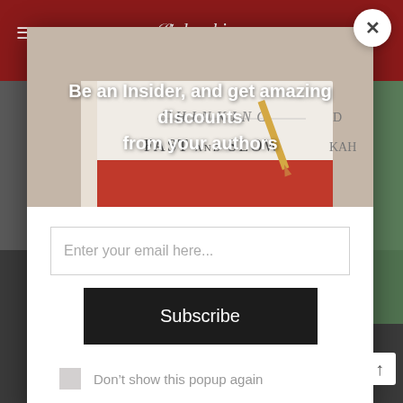[Figure (screenshot): Website header with dark red background showing a hamburger menu icon on left and a cursive logo in the center]
[Figure (photo): Photo of books stacked, showing 'Thinking Fast and Slow' book cover with a pencil resting on top, used as modal banner image]
Be an Insider, and get amazing discounts from your authors
Enter your email here...
Subscribe
Don't show this popup again